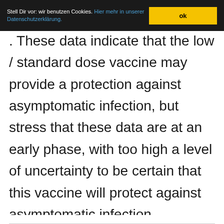Stell Dir vor: wir benutzen Cookies. Hier mehr in unserer Datenschutzerklärung. ok
. These data indicate that the low dose / standard dose vaccine may provide a protection against asymptomatic infection, but stress that these data are at an early phase, with too high a level of uncertainty to be certain that this vaccine will protect against asymptomatic infection.